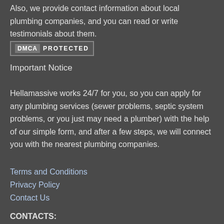Also, we provide contact information about local plumbing companies, and you can read or write testimonials about them.
[Figure (logo): DMCA Protected badge with dark background, gray border, showing 'DMCA' label and 'PROTECTED' text]
Important Notice
Hellamassive works 24/7 for you, so you can apply for any plumbing services (sewer problems, septic system problems, or you just may need a plumber) with the help of our simple form, and after a few steps, we will connect you with the nearest plumbing companies.
Terms and Conditions
Privacy Policy
Contact Us
CONTACTS: